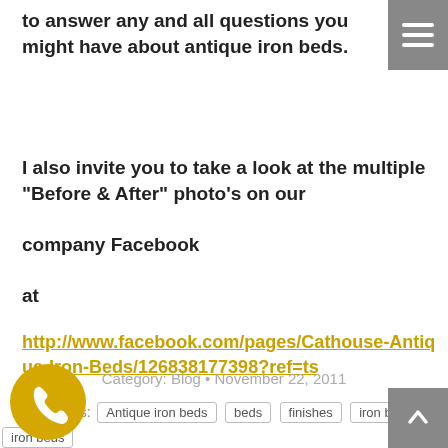to answer any and all questions you might have about antique iron beds.
I also invite you to take a look at the multiple "Before & After" photo's on our company Facebook at http://www.facebook.com/pages/Cathouse-Antique-Iron-Beds/126838177398?ref=ts
Category: Blog • November 22, 2011
Tags: Antique iron beds  beds  finishes  iron bed  iron beds  refinishing